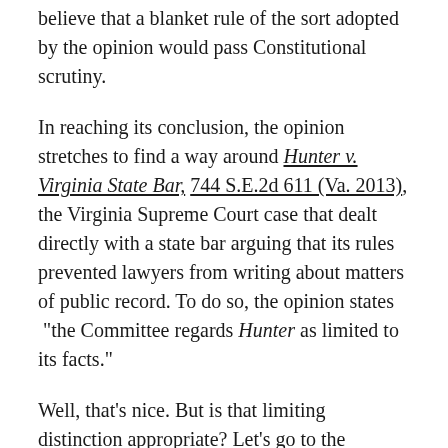believe that a blanket rule of the sort adopted by the opinion would pass Constitutional scrutiny.
In reaching its conclusion, the opinion stretches to find a way around Hunter v. Virginia State Bar, 744 S.E.2d 611 (Va. 2013), the Virginia Supreme Court case that dealt directly with a state bar arguing that its rules prevented lawyers from writing about matters of public record. To do so, the opinion states “the Committee regards Hunter as limited to its facts.”
Well, that’s nice. But is that limiting distinction appropriate? Let’s go to the opinion in Hunter:
““ The VSB argues that it can prohibit an